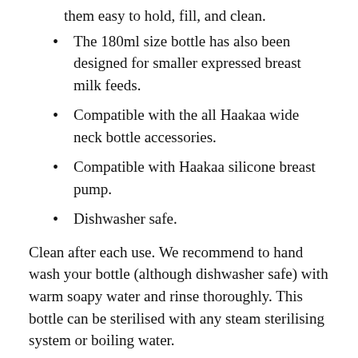them easy to hold, fill, and clean.
The 180ml size bottle has also been designed for smaller expressed breast milk feeds.
Compatible with the all Haakaa wide neck bottle accessories.
Compatible with Haakaa silicone breast pump.
Dishwasher safe.
Clean after each use. We recommend to hand wash your bottle (although dishwasher safe) with warm soapy water and rinse thoroughly. This bottle can be sterilised with any steam sterilising system or boiling water.
No bleach based agents.